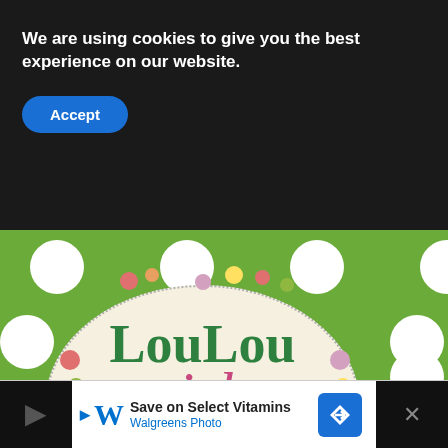We are using cookies to give you the best experience on our website.
Accept
[Figure (logo): LouLou Girls logo on green polka-dot background with floral wreath around oval cream badge. Text reads 'LouLou' in green serif font and 'girls' in pink script font. Pink banner across middle. White polka dots on green background.]
WHAT'S NEXT → Easy Hawaiian Cake
Privacy · Terms
[Figure (screenshot): Advertisement banner: Walgreens Photo ad. Text: Save on Select Vitamins / Walgreens Photo. Blue navigation arrow icon on right. Dark panels on left and right edges with X close button.]